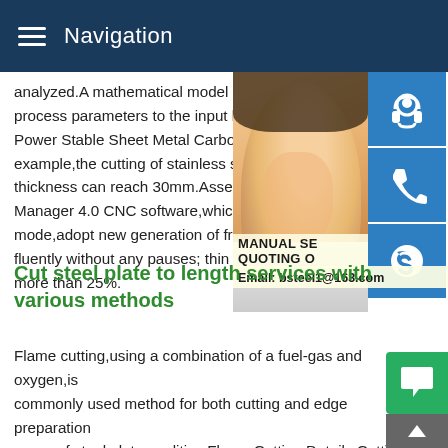Navigation
analyzed.A mathematical model is developed process parameters to the input laser cutting Power Stable Sheet Metal Carbon Steel L example,the cutting of stainless steel,and thickness can reach 30mm.Assemble with Manager 4.0 CNC software,which optimizes mode,adopt new generation of frog jump mode fluently without any pauses; thin materials more than 25%.
[Figure (photo): Woman with headset, customer service representative photo with blue overlay icons (headset, phone, Skype) on the right side, and promotional text overlay showing MANUAL SE, QUOTING O, Email: bsteel1@163.com]
Cut steel plate to length services with various methods
Flame cutting,using a combination of a fuel-gas and oxygen,is commonly used method for both cutting and edge preparation range of steel plate qualities.Flame Cutting Details Cutting thickness from 6mm to 270mm (dependent on material).China